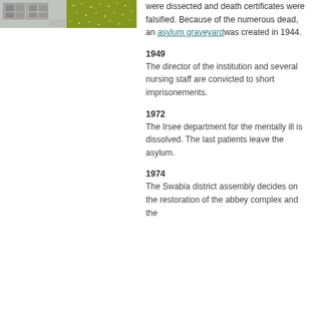[Figure (photo): Two-panel image strip: left panel shows a grey building facade with windows; right panel shows a golden/olive-colored nature scene with small lights or sparkling elements.]
were dissected and death certificates were falsified. Because of the numerous dead, an asylum graveyard was created in 1944.
1949
The director of the institution and several nursing staff are convicted to short imprisonements.
1972
The Irsee department for the mentally ill is dissolved. The last patients leave the asylum.
1974
The Swabia district assembly decides on the restoration of the abbey complex and the